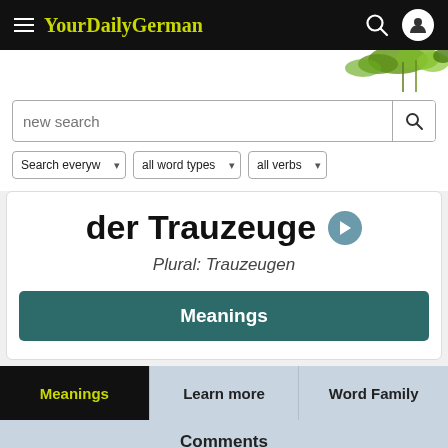YourDailyGerman
der Trauzeuge
Plural: Trauzeugen
Meanings
Meanings | Learn more | Word Family
Comments
Subscribe for free